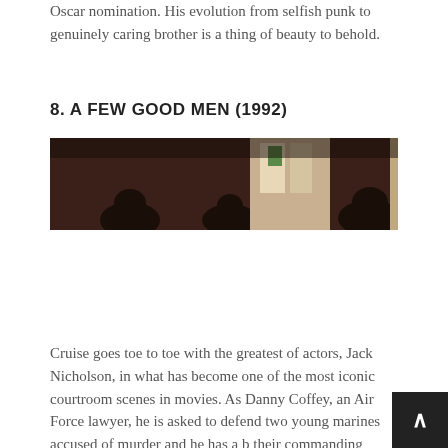Oscar nomination. His evolution from selfish punk to genuinely caring brother is a thing of beauty to behold.
8. A FEW GOOD MEN (1992)
[Figure (photo): Dark movie still from A Few Good Men (1992) showing silhouettes of figures in a dimly lit interior scene with warm tones and light coming through windows.]
Cruise goes toe to toe with the greatest of actors, Jack Nicholson, in what has become one of the most iconic courtroom scenes in movies. As Danny Coffey, an Air Force lawyer, he is asked to defend two young marines accused of murder and he has a b their commanding officer gave the order, called, off the books a